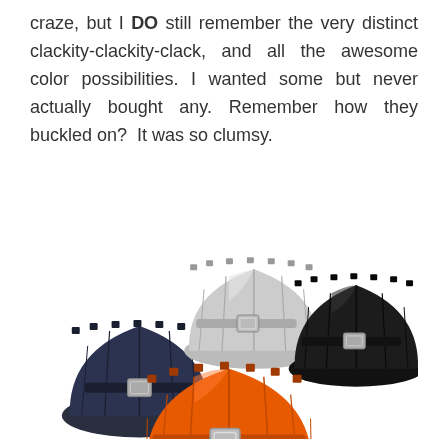craze, but I DO still remember the very distinct clackity-clackity-clack, and all the awesome color possibilities. I wanted some but never actually bought any. Remember how they buckled on? It was so clumsy.
[Figure (photo): Four plastic bell boots for horses shown arranged together: a navy/dark blue one on the left, a silver/white one in the upper center, an orange one in the lower center-right, and a black one on the right. Each boot has a buckle closure around the middle.]